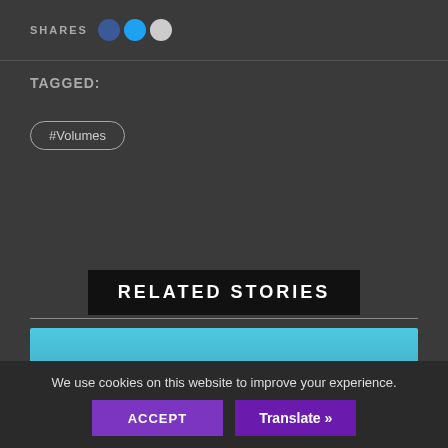SHARES
TAGGED:
#Volumes
RELATED STORIES
[Figure (photo): Cyan/teal gradient image block related to a story]
We use cookies on this website to improve your experience.
ACCEPT
Translate »